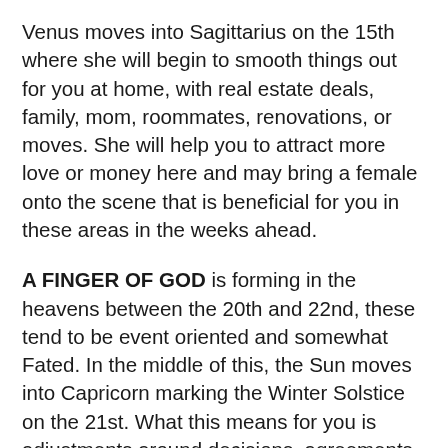Venus moves into Sagittarius on the 15th where she will begin to smooth things out for you at home, with real estate deals, family, mom, roommates, renovations, or moves. She will help you to attract more love or money here and may bring a female onto the scene that is beneficial for you in these areas in the weeks ahead.
A FINGER OF GOD is forming in the heavens between the 20th and 22nd, these tend to be event oriented and somewhat Fated. In the middle of this, the Sun moves into Capricorn marking the Winter Solstice on the 21st. What this means for you is adjustments around decisions, agreements, sales, writing, meetings, or talks involving goals, career, status, ambitions, authority figures, or your leadership style and any limits, losses, endings, ambitions, responsibilities, or commitments, as well as any changes or upheavals in your love life, with lovers,